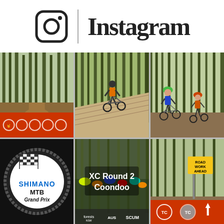[Figure (logo): Instagram logo with camera icon and 'Instagram' text in script font]
[Figure (photo): Mountain bike trail through forest with red sponsor banner at bottom]
[Figure (photo): Mountain biker performing jump on a wooden ramp in forest]
[Figure (photo): Two mountain bikers riding on forest trail]
[Figure (logo): Shimano MTB Grand Prix logo - white circle with gear teeth border on black background, checkered flags, SHIMANO in blue, MTB Grand Prix in black]
[Figure (photo): Group of mountain bikers with XC Round 2 Coondoo text overlay, forests and SCUM logos at bottom]
[Figure (photo): Forest trail with Road Works Ahead sign and red Trail Crew banner at bottom]